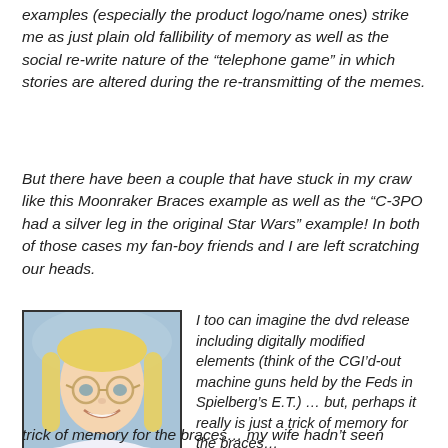examples (especially the product logo/name ones) strike me as just plain old fallibility of memory as well as the social re-write nature of the “telephone game” in which stories are altered during the re-transmitting of the memes.
But there have been a couple that have stuck in my craw like this Moonraker Braces example as well as the “C-3PO had a silver leg in the original Star Wars” example! In both of those cases my fan-boy friends and I are left scratching our heads.
[Figure (photo): Smiling young woman with blond braids and round glasses, photographed outdoors.]
I too can imagine the dvd release including digitally modified elements (think of the CGI’d-out machine guns held by the Feds in Spielberg’s E.T.) … but, perhaps it really is just a trick of memory for the braces… my wife hadn’t seen